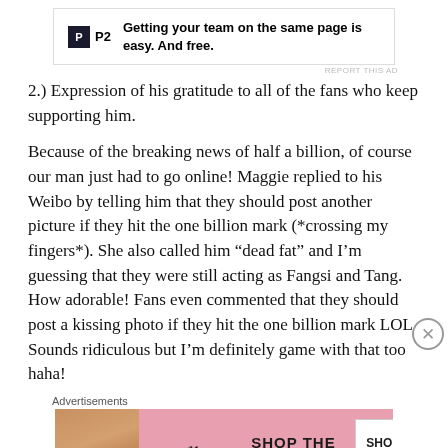[Figure (other): Advertisement banner: P2 logo with text 'Getting your team on the same page is easy. And free.']
2.) Expression of his gratitude to all of the fans who keep supporting him.
Because of the breaking news of half a billion, of course our man just had to go online! Maggie replied to his Weibo by telling him that they should post another picture if they hit the one billion mark (*crossing my fingers*). She also called him “dead fat” and I’m guessing that they were still acting as Fangsi and Tang. How adorable! Fans even commented that they should post a kissing photo if they hit the one billion mark LOL. Sounds ridiculous but I’m definitely game with that too haha!
Advertisements
[Figure (other): Victoria's Secret advertisement: model photo, VS logo, 'SHOP THE COLLECTION', 'SHOP NOW' button on pink background]